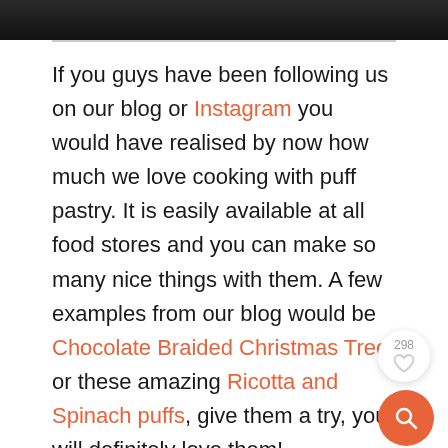[Figure (photo): Top portion of a photo (dark/black screenshot or image), partially visible at the top of the page]
If you guys have been following us on our blog or Instagram you would have realised by now how much we love cooking with puff pastry. It is easily available at all food stores and you can make so many nice things with them. A few examples from our blog would be Chocolate Braided Christmas Tree or these amazing Ricotta and Spinach puffs, give them a try, you will definitely love them!